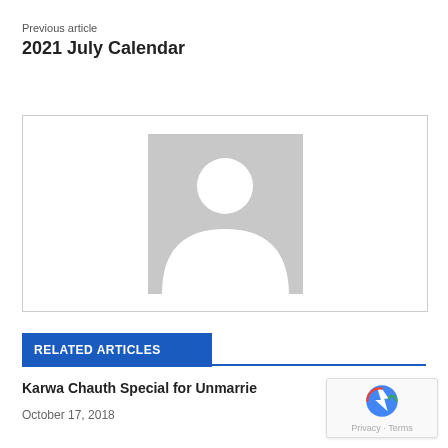Previous article
2021 July Calendar
[Figure (illustration): Default avatar placeholder image — grey silhouette of a person on white background inside a bordered rectangle]
RELATED ARTICLES
Karwa Chauth Special for Unmarrie…
October 17, 2018